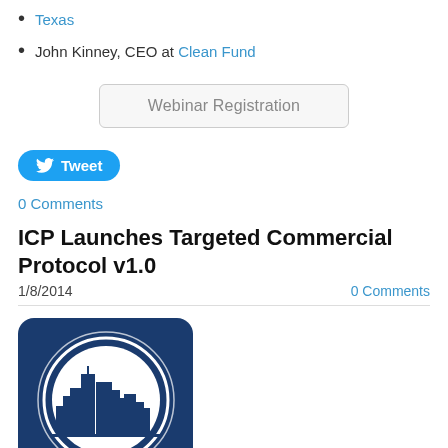Texas
John Kinney, CEO at Clean Fund
Webinar Registration
Tweet
0 Comments
ICP Launches Targeted Commercial Protocol v1.0
1/8/2014
0 Comments
[Figure (logo): Dark blue square badge with rounded corners featuring a circular emblem showing a city skyline. Text below reads TARGETED COMMERCIAL in white capital letters on dark blue background.]